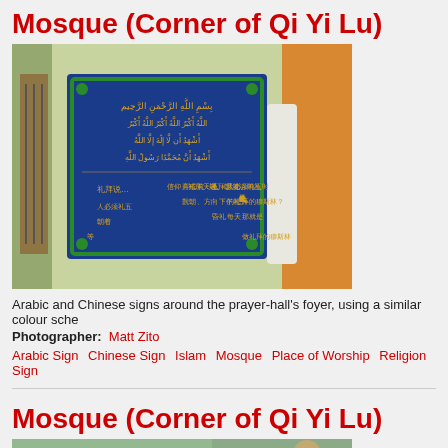Mosque (Corner of Qi Yi Lu)
[Figure (photo): Photo of Arabic and Chinese signs on a blue board in the prayer-hall foyer of a mosque, with green and orange walls visible.]
Arabic and Chinese signs around the prayer-hall's foyer, using a similar colour sche
Photographer: Matt Zito
Arabic Sign  Chinese Sign  Islam  Mosque  Place of Worship  Religion  Sign
Mosque (Corner of Qi Yi Lu)
[Figure (photo): Partial photo of another view inside the mosque.]